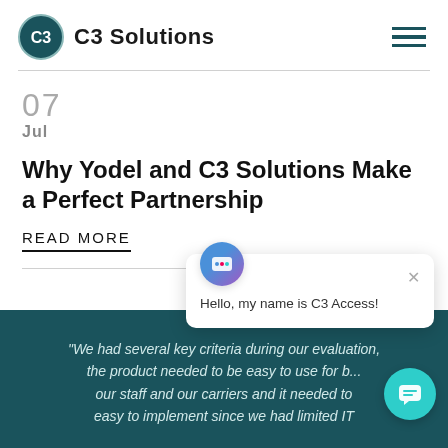C3 Solutions
07
Jul
Why Yodel and C3 Solutions Make a Perfect Partnership
READ MORE
“We had several key criteria during our evaluation, the product needed to be easy to use for b... our staff and our carriers and it needed to be easy to implement since we had limited IT
[Figure (screenshot): Chat popup with avatar icon, close button, and message: Hello, my name is C3 Access!]
[Figure (screenshot): Teal circular chat button with speech bubble icon]